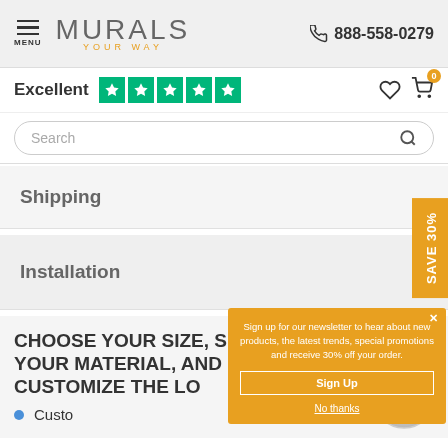MURALS YOUR WAY — 888-558-0279
Excellent ★★★★★
Search
Shipping
Installation
[Figure (other): SAVE 30% vertical tab banner in orange on right side]
CHOOSE YOUR SIZE, SELECT YOUR MATERIAL, AND EVEN CUSTOMIZE THE LO...
[Figure (logo): 100% Love It Guarantee badge, circular silver badge]
[Figure (logo): Printed in the USA circular badge with US flag]
Custo...
Sign up for our newsletter to hear about new products, the latest trends, special promotions and receive 30% off your order.
Sign Up
No thanks